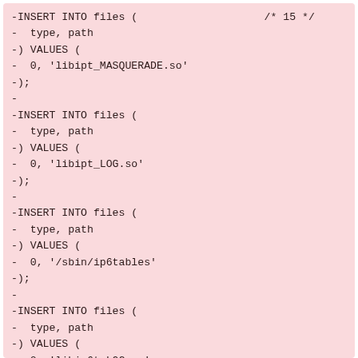-INSERT INTO files (                    /* 15 */
-  type, path
-) VALUES (
-  0, 'libipt_MASQUERADE.so'
-);
-
-INSERT INTO files (
-  type, path
-) VALUES (
-  0, 'libipt_LOG.so'
-);
-
-INSERT INTO files (
-  type, path
-) VALUES (
-  0, '/sbin/ip6tables'
-);
-
-INSERT INTO files (
-  type, path
-) VALUES (
-  0, 'libip6t_LOG.so'
-);
-
-INSERT INTO files (